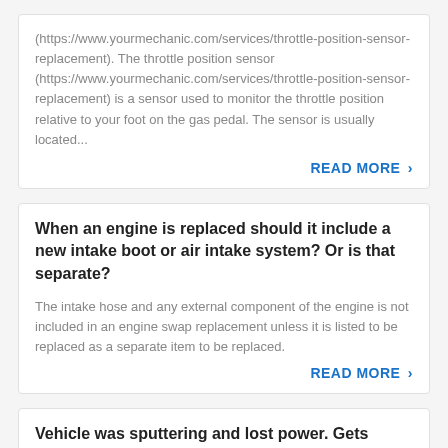(https://www.yourmechanic.com/services/throttle-position-sensor-replacement). The throttle position sensor (https://www.yourmechanic.com/services/throttle-position-sensor-replacement) is a sensor used to monitor the throttle position relative to your foot on the gas pedal. The sensor is usually located...
READ MORE >
When an engine is replaced should it include a new intake boot or air intake system? Or is that separate?
The intake hose and any external component of the engine is not included in an engine swap replacement unless it is listed to be replaced as a separate item to be replaced.
READ MORE >
Vehicle was sputtering and lost power. Gets